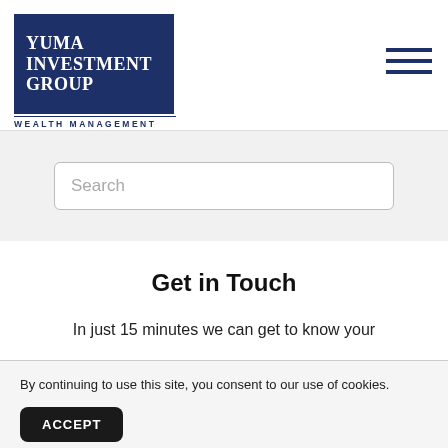[Figure (logo): Yuma Investment Group Wealth Management logo — dark navy blue rectangle with white serif text reading YUMA INVESTMENT GROUP, with WEALTH MANAGEMENT in small caps below]
Search
Get in Touch
In just 15 minutes we can get to know your
By continuing to use this site, you consent to our use of cookies.
ACCEPT